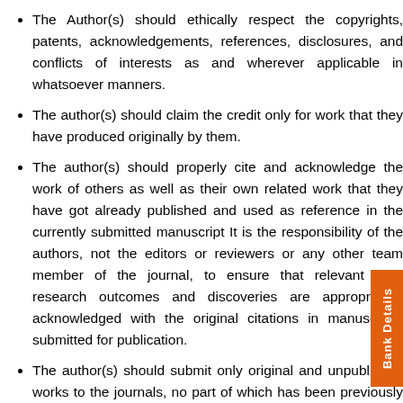The Author(s) should ethically respect the copyrights, patents, acknowledgements, references, disclosures, and conflicts of interests as and wherever applicable in whatsoever manners.
The author(s) should claim the credit only for work that they have produced originally by them.
The author(s) should properly cite and acknowledge the work of others as well as their own related work that they have got already published and used as reference in the currently submitted manuscript It is the responsibility of the authors, not the editors or reviewers or any other team member of the journal, to ensure that relevant prior research outcomes and discoveries are appropriately acknowledged with the original citations in manuscripts submitted for publication.
The author(s) should submit only original and unpublished works to the journals, no part of which has been previously published in print or online as, or is under consideration as, a peer-reviewed article in